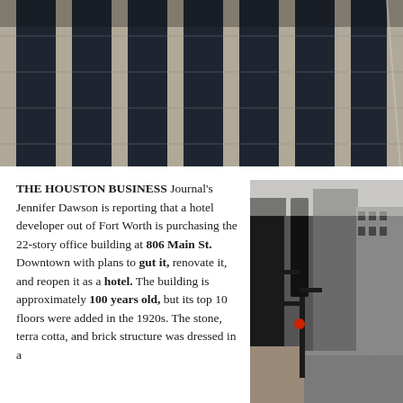[Figure (photo): Close-up of a multi-story office building facade with vertical bands of dark glass windows and light concrete columns]
THE HOUSTON BUSINESS Journal's Jennifer Dawson is reporting that a hotel developer out of Fort Worth is purchasing the 22-story office building at 806 Main St. Downtown with plans to gut it, renovate it, and reopen it as a hotel. The building is approximately 100 years old, but its top 10 floors were added in the 1920s. The stone, terra cotta, and brick structure was dressed in a
[Figure (photo): Street-level view of downtown Houston showing a tall black traffic signal pole in the foreground with high-rise office buildings lining the street in the background]